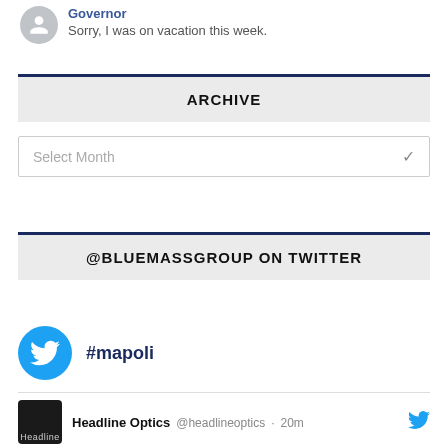Governor
Sorry, I was on vacation this week.
ARCHIVE
Select Month
@BLUEMASSGROUP ON TWITTER
#mapoli
Headline Optics @headlineoptics · 20m